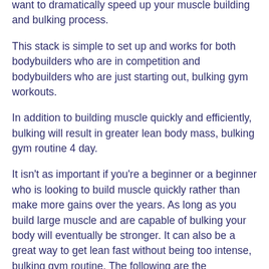want to dramatically speed up your muscle building and bulking process.
This stack is simple to set up and works for both bodybuilders who are in competition and bodybuilders who are just starting out, bulking gym workouts.
In addition to building muscle quickly and efficiently, bulking will result in greater lean body mass, bulking gym routine 4 day.
It isn't as important if you're a beginner or a beginner who is looking to build muscle quickly rather than make more gains over the years. As long as you build large muscle and are capable of bulking your body will eventually be stronger. It can also be a great way to get lean fast without being too intense, bulking gym routine. The following are the ingredients to this stack, bulking gym workouts.